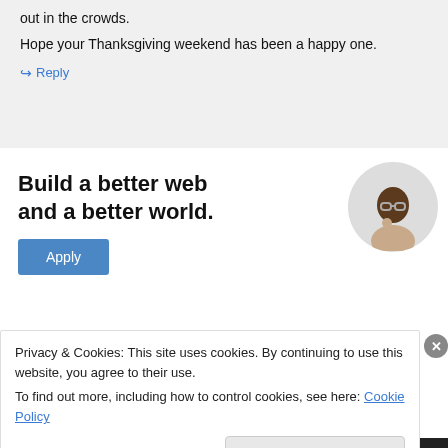out in the crowds.
Hope your Thanksgiving weekend has been a happy one.
↵ Reply
[Figure (illustration): Advertisement: 'Build a better web and a better world.' with an Apply button and a circular photo of a person thinking]
Privacy & Cookies: This site uses cookies. By continuing to use this website, you agree to their use.
To find out more, including how to control cookies, see here: Cookie Policy
Close and accept